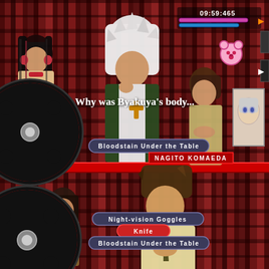[Figure (screenshot): Screenshot of Danganronpa video game showing a courtroom/debate scene. Top half: characters including a white-haired male character (Nagito Komaeda) in center, a dark-haired female on left, and a brown-haired female on right, set against a dark red bookshelf background. A pink bear mascot icon and timer bar (09:59:465) with pink and blue progress bars appear in the top right corner. A speech bubble reads 'Why was Byakuya's body...' A dark pill-shaped evidence button reads 'Bloodstain Under the Table' and a nameplate shows 'NAGITO KOMAEDA'. Bottom half: shows another character (brown-haired male) with three overlapping evidence pills: 'Night-vision Goggles', 'Knife' (in red), and 'Bloodstain Under the Table'. A roulette/monokuma wheel appears on the left side of both halves. FINISH and START labels appear on the right side bar.]